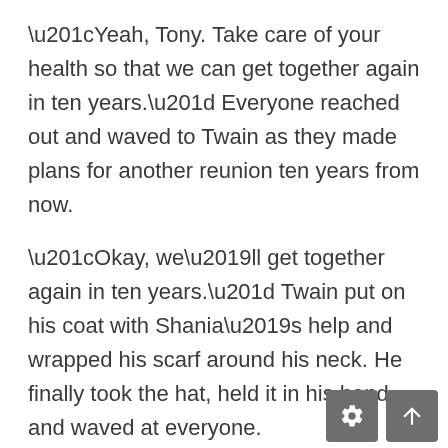“Yeah, Tony. Take care of your health so that we can get together again in ten years.” Everyone reached out and waved to Twain as they made plans for another reunion ten years from now.
“Okay, we’ll get together again in ten years.” Twain put on his coat with Shania’s help and wrapped his scarf around his neck. He finally took the hat, held it in his hand, and waved at everyone.
George Wood, who had been talking to his